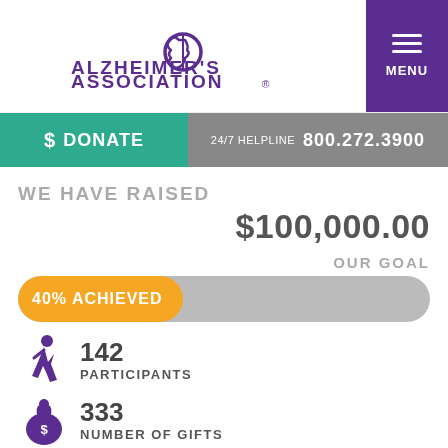[Figure (logo): Alzheimer's Association logo with brain icon in purple]
MENU
$ DONATE
24/7 HELPLINE  800.272.3900
WE HAVE RAISED
$100,000.00
OUR GOAL
[Figure (infographic): Progress bar showing 40% achieved in orange against grey background]
142 PARTICIPANTS
333 NUMBER OF GIFTS